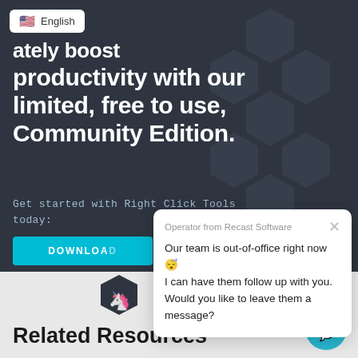[Figure (screenshot): Dark hero banner with hexagon background pattern showing website content about Right Click Tools Community Edition]
English
...ately boost productivity with our limited, free to use, Community Edition.
Get started with Right Click Tools today:
DOWNLOAD
Operator from Recast Software
Our team is out-of-office right now 😴
I can have them follow up with you. Would you like to leave them a message?
[Figure (logo): Unicorn logo icon for Recast Software chat widget]
Related Resources